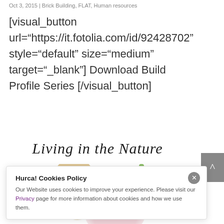Oct 3, 2015 | Brick Building, FLAT, Human resources
[visual_button url="https://it.fotolia.com/id/92428702" style="default" size="medium" target="_blank"] Download Build Profile Series [/visual_button]
Living in the Nature
[Figure (photo): Partial view of a nature-themed image with a yellow/brown round fruit or object on the left and a green stem on the right]
Hurca! Cookies Policy
Our Website uses cookies to improve your experience. Please visit our Privacy page for more information about cookies and how we use them.